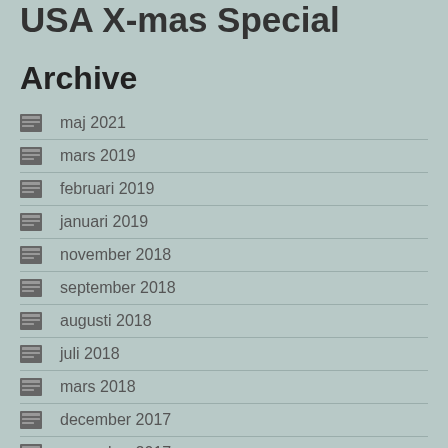USA X-mas Special
Archive
maj 2021
mars 2019
februari 2019
januari 2019
november 2018
september 2018
augusti 2018
juli 2018
mars 2018
december 2017
november 2017